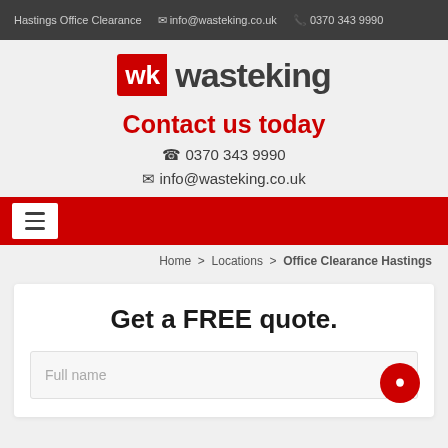Hastings Office Clearance   info@wasteking.co.uk   0370 343 9990
[Figure (logo): WasteKing logo: red WK icon beside dark grey 'wasteking' wordmark]
Contact us today
0370 343 9990
info@wasteking.co.uk
[Figure (other): Red navigation bar with hamburger menu icon]
Home > Locations > Office Clearance Hastings
Get a FREE quote.
Full name